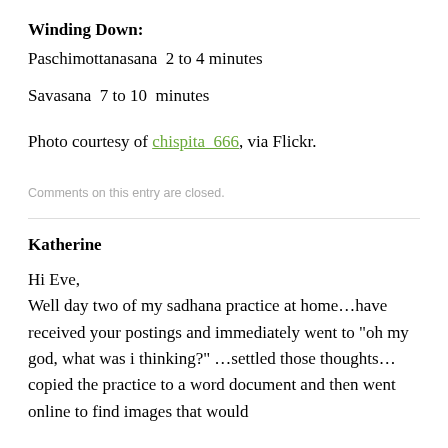Winding Down:
Paschimottanasana  2 to 4 minutes
Savasana  7 to 10  minutes
Photo courtesy of chispita_666, via Flickr.
Comments on this entry are closed.
Katherine
Hi Eve,
Well day two of my sadhana practice at home…have received your postings and immediately went to “oh my god, what was i thinking?” …settled those thoughts…copied the practice to a word document and then went online to find images that would